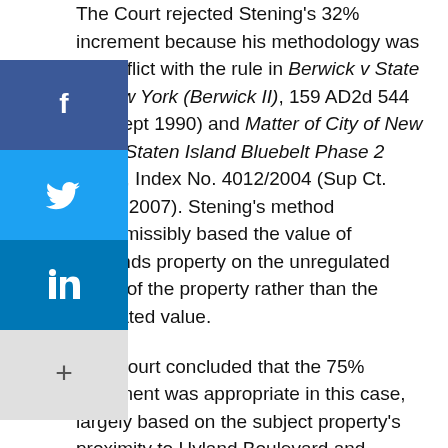The Court rejected Stening's 32% increment because his methodology was in conflict with the rule in Berwick v State of New York (Berwick II), 159 AD2d 544 (2d Dept 1990) and Matter of City of New York, Staten Island Bluebelt Phase 2 (Fink), Index No. 4012/2004 (Sup Ct. Kings 2007). Stening's method impermissibly based the value of wetlands property on the unregulated value of the property rather than the regulated value.

The Court concluded that the 75% increment was appropriate in this case, largely based on the subject property's proximity to Hyland Boulevard and commercial zoning. After applying the 75% increment to the difference between the unregulated and regulated values, and adding it back to the regulated value, the total damages came to $3,476,150, or $3,500,000, rounded. The advance payment paid by the City was $2,575,700.00.

Michael Rikon was the trial attorney for the Claimant.